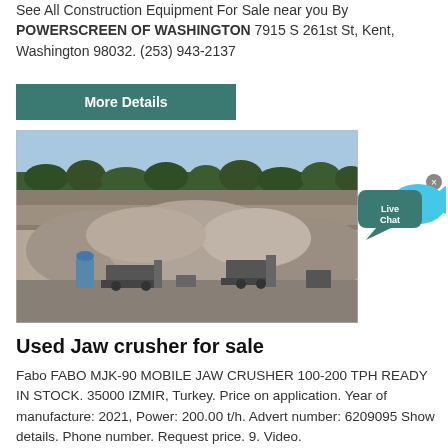See All Construction Equipment For Sale near you By POWERSCREEN OF WASHINGTON 7915 S 261st St, Kent, Washington 98032. (253) 943-2137
More Details
[Figure (photo): Aerial/ground view of a quarry or gravel pit with large piles of aggregate material, mining/crushing machinery at the base, and a tree line in the background under a blue sky.]
[Figure (illustration): Live Chat button/icon — a teal speech bubble with 'Live Chat' text and a cyan fish tail graphic.]
Used Jaw crusher for sale
Fabo FABO MJK-90 MOBILE JAW CRUSHER 100-200 TPH READY IN STOCK. 35000 IZMIR, Turkey. Price on application. Year of manufacture: 2021, Power: 200.00 t/h. Advert number: 6209095 Show details. Phone number. Request price. 9. Video.